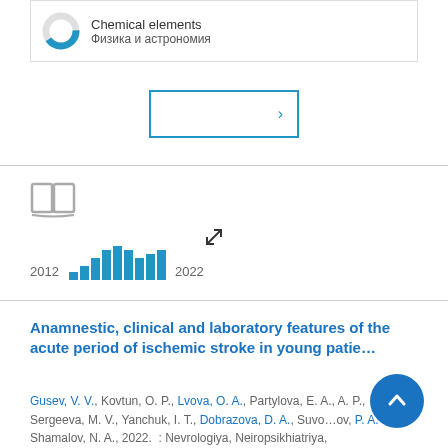[Figure (other): Donut chart icon with text: Chemical elements / Физика и астрономия inside a bordered card]
[Figure (other): Navigation button with blue border and right arrow]
[Figure (other): Book/open-book icon in gray]
[Figure (other): Expand/resize arrow icon]
[Figure (bar-chart): Publications 2012–2022]
Anamnestic, clinical and laboratory features of the acute period of ischemic stroke in young patie…
Gusev, V. V., Kovtun, O. P., Lvova, O. A., Partylova, E. A., A. P., Sergeeva, M. V., Yanchuk, I. T., Dobrazova, D. A., Suvorov, P. A. & Shamalov, N. A., 2022. : Nevrologiya, Neiropsikhiatriya,